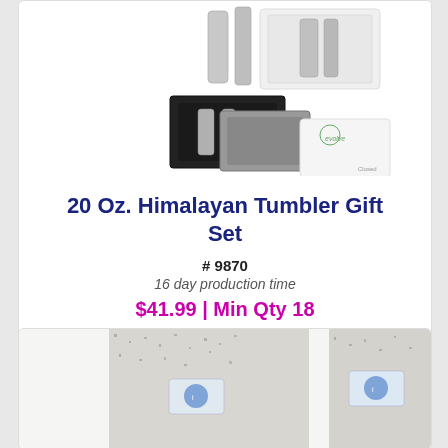[Figure (photo): Product photo showing 20 Oz. Himalayan Tumbler Gift Set with multiple gift box configurations including black, gray, and white boxes with silver tumblers. Includes an 'evolve' branded white box.]
20 Oz. Himalayan Tumbler Gift Set
# 9870
16 day production time
$41.99 | Min Qty 18
[Figure (other): Icon bar with shopping cart, envelope, info, and list icons]
[Figure (photo): Product photo showing knit socks/gloves with branded labels, gray speckled texture, partially visible at bottom of page.]